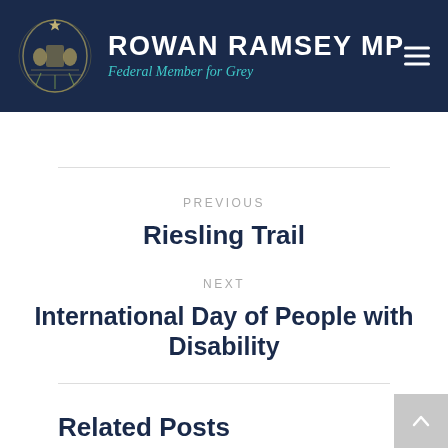ROWAN RAMSEY MP — Federal Member for Grey
PREVIOUS
Riesling Trail
NEXT
International Day of People with Disability
Related Posts